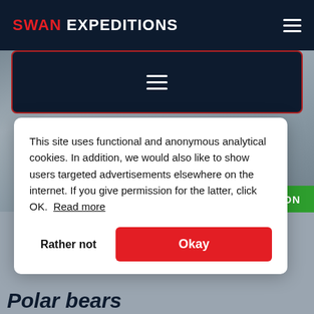SWAN EXPEDITIONS
[Figure (screenshot): Secondary navigation bar with hamburger menu icon on dark navy background with red border]
[Figure (photo): Arctic/Svalbard landscape background — grey rocky or icy terrain]
Experience wildlife in Svalbard
This site uses functional and anonymous analytical cookies. In addition, we would also like to show users targeted advertisements elsewhere on the internet. If you give permission for the latter, click OK.  Read more
Rather not
Okay
Polar bears